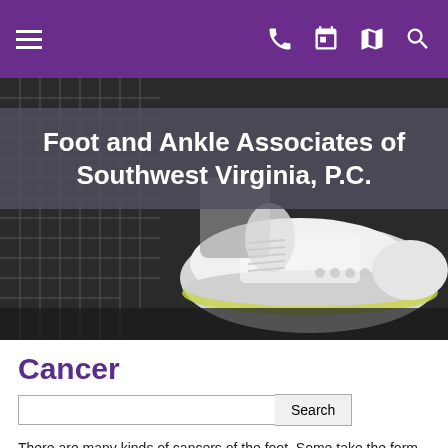Foot and Ankle Associates of Southwest Virginia, P.C.
[Figure (photo): Close-up photo of a person tying a white athletic/tennis shoe near a tennis racket on a court]
Cancer
There are many kinds of cancers of the foot. Some take the form of cysts and lesions, while others are more widespread.
Malignant melanoma is a skin cancer that is curable if caught early. Although it makes up only one percent of skin cancers, melanoma accounts for over 60 percent of skin cancer deaths. It is